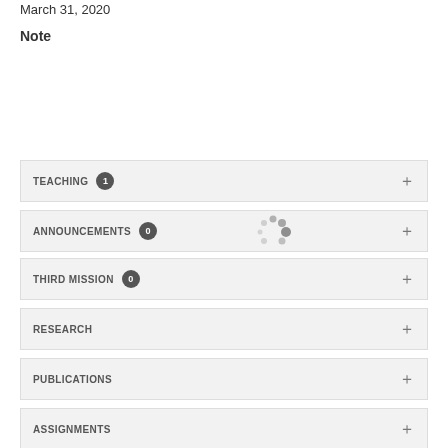March 31, 2020
Note
TEACHING 1 +
ANNOUNCEMENTS 0 +
THIRD MISSION 0 +
RESEARCH +
PUBLICATIONS +
ASSIGNMENTS +